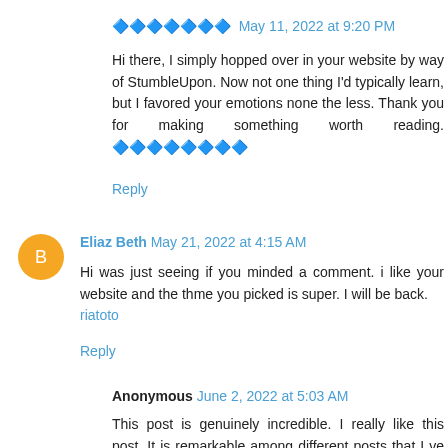🔷🔷🔷🔷🔷🔷🔷  May 11, 2022 at 9:20 PM
Hi there, I simply hopped over in your website by way of StumbleUpon. Now not one thing I'd typically learn, but I favored your emotions none the less. Thank you for making something worth reading. 🔷🔷🔷🔷🔷🔷🔷🔷
Reply
Eliaz Beth  May 21, 2022 at 4:15 AM
Hi was just seeing if you minded a comment. i like your website and the thme you picked is super. I will be back. riatoto
Reply
Anonymous  June 2, 2022 at 5:03 AM
This post is genuinely incredible. I really like this post. It is remarkable among different posts that I ve read in a long